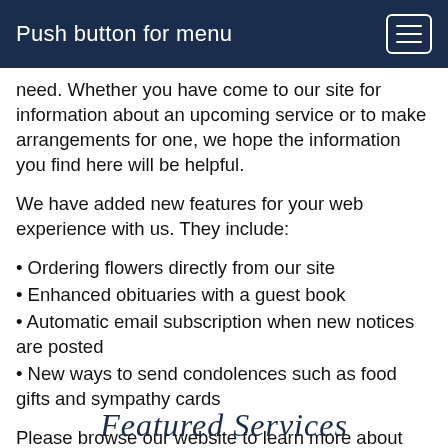Push button for menu
need. Whether you have come to our site for information about an upcoming service or to make arrangements for one, we hope the information you find here will be helpful.
We have added new features for your web experience with us. They include:
• Ordering flowers directly from our site
• Enhanced obituaries with a guest book
• Automatic email subscription when new notices are posted
• New ways to send condolences such as food gifts and sympathy cards
Please browse our website to learn more about our services and facilities.
Featured Services